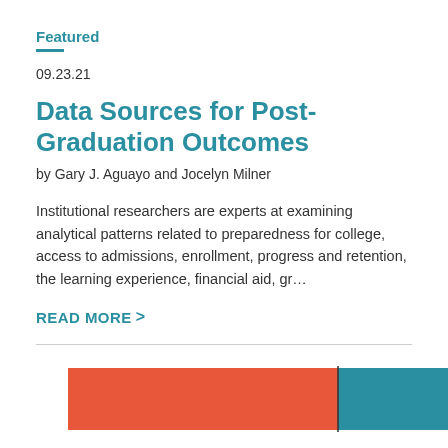Featured
09.23.21
Data Sources for Post-Graduation Outcomes
by Gary J. Aguayo and Jocelyn Milner
Institutional researchers are experts at examining analytical patterns related to preparedness for college, access to admissions, enrollment, progress and retention, the learning experience, financial aid, gr…
READ MORE  >
[Figure (bar-chart): Partial horizontal stacked bar chart showing two segments: a salmon/red segment on the left and a teal segment on the right, cut off at the bottom of the page.]